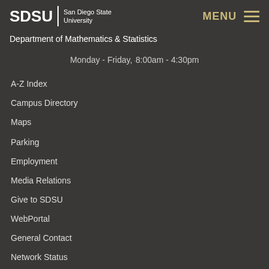SDSU | San Diego State University   MENU ≡
Department of Mathematics & Statistics
Monday - Friday, 8:00am - 4:30pm
A-Z Index
Campus Directory
Maps
Parking
Employment
Media Relations
Give to SDSU
WebPortal
General Contact
Network Status
Strategic Plan